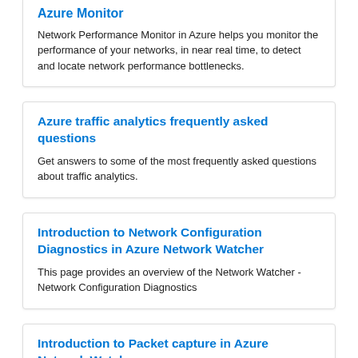Azure Monitor
Network Performance Monitor in Azure helps you monitor the performance of your networks, in near real time, to detect and locate network performance bottlenecks.
Azure traffic analytics frequently asked questions
Get answers to some of the most frequently asked questions about traffic analytics.
Introduction to Network Configuration Diagnostics in Azure Network Watcher
This page provides an overview of the Network Watcher - Network Configuration Diagnostics
Introduction to Packet capture in Azure Network Watcher
This page provides an overview of the Network Watcher packet capture's capability.